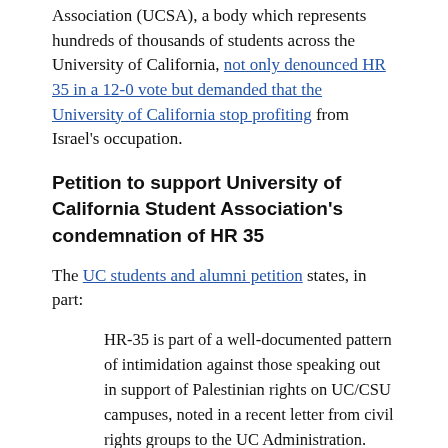Association (UCSA), a body which represents hundreds of thousands of students across the University of California, not only denounced HR 35 in a 12-0 vote but demanded that the University of California stop profiting from Israel's occupation.
Petition to support University of California Student Association's condemnation of HR 35
The UC students and alumni petition states, in part:
HR-35 is part of a well-documented pattern of intimidation against those speaking out in support of Palestinian rights on UC/CSU campuses, noted in a recent letter from civil rights groups to the UC Administration.
Therefore,